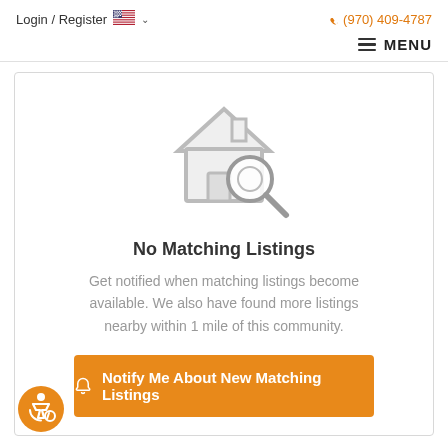Login / Register  (970) 409-4787
MENU
[Figure (illustration): House with magnifying glass icon, gray outline style, indicating no search results.]
No Matching Listings
Get notified when matching listings become available. We also have found more listings nearby within 1 mile of this community.
Notify Me About New Matching Listings